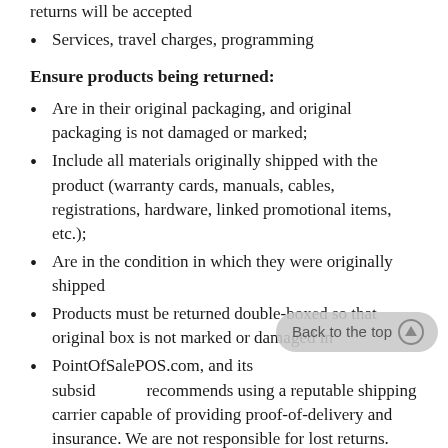returns will be accepted
Services, travel charges, programming
Ensure products being returned:
Are in their original packaging, and original packaging is not damaged or marked;
Include all materials originally shipped with the product (warranty cards, manuals, cables, registrations, hardware, linked promotional items, etc.);
Are in the condition in which they were originally shipped
Products must be returned double-boxed so that original box is not marked or damaged in
PointOfSalePOS.com, and its subsid recommends using a reputable shipping carrier capable of providing proof-of-delivery and insurance. We are not responsible for lost returns.
If the return shipment does not meet the above